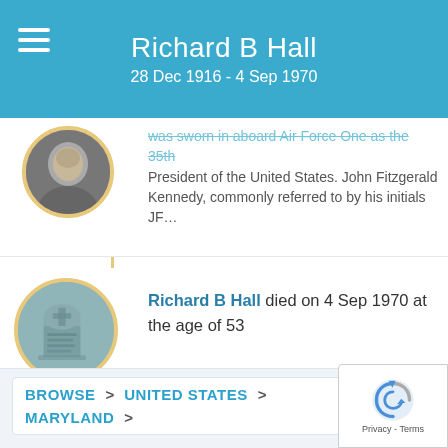Richard B Hall
28 Dec 1916 - 4 Sep 1970
was sworn in aboard Air Force One as the 35th President of the United States. John Fitzgerald Kennedy, commonly referred to by his initials JF...
Richard B Hall died on 4 Sep 1970 at the age of 53
BROWSE > UNITED STATES > MARYLAND >